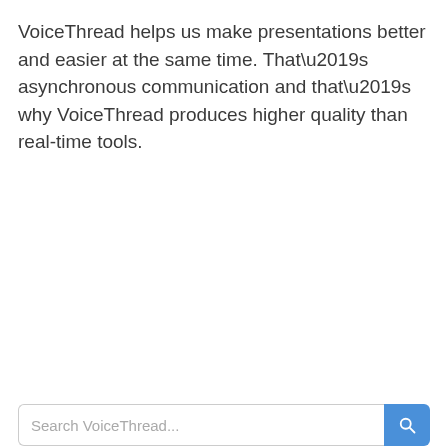VoiceThread helps us make presentations better and easier at the same time. That’s asynchronous communication and that’s why VoiceThread produces higher quality than real-time tools.
[Figure (screenshot): Search bar with placeholder text and a blue search button on the right side, partially visible at the bottom of the page.]